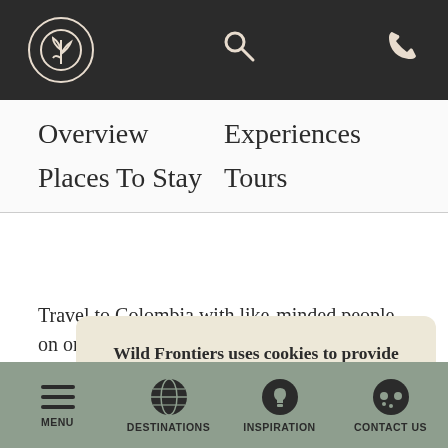[Figure (logo): Wild Frontiers logo circle with stylized plant/person icon on dark background header]
Overview   Experiences   Places To Stay   Tours
Travel to Colombia with like-minded people on one of our small group tours (usually max size 12), featuring kn...
Wild Frontiers uses cookies to provide you with a better experience. By continuing to use our site you accept our cookie policy.
Close
MENU   DESTINATIONS   INSPIRATION   CONTACT US